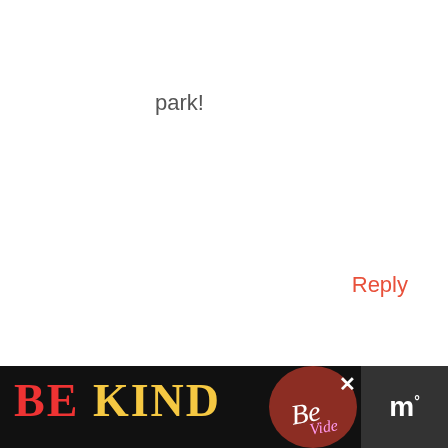park!
Reply
ANNMARIE BROWN
JANUARY 6, 2014 AT 8:19 PM
If you are asking my opinion which you are I would say NO.
[Figure (other): Advertisement banner at bottom: 'BE KIND' text in red and yellow on dark background with decorative illustration, close button, and logo box on right]